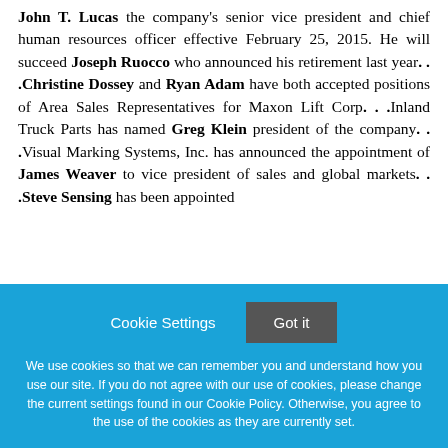John T. Lucas the company's senior vice president and chief human resources officer effective February 25, 2015. He will succeed Joseph Ruocco who announced his retirement last year. . .Christine Dossey and Ryan Adam have both accepted positions of Area Sales Representatives for Maxon Lift Corp. . .Inland Truck Parts has named Greg Klein president of the company. . .Visual Marking Systems, Inc. has announced the appointment of James Weaver to vice president of sales and global markets. . .Steve Sensing has been appointed [cut off]
Cookie Settings | Got it

We use cookies so that we can remember you and understand how you use our site. If you do not agree with our use of cookies, please change the current settings found in our Cookie Policy. Otherwise, you agree to the use of the cookies as they are currently set.